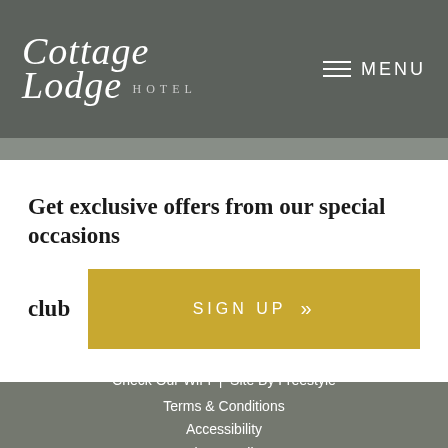[Figure (logo): Cottage Lodge Hotel logo in white cursive script on dark grey background, with hamburger menu icon and 'MENU' text on the right]
Get exclusive offers from our special occasions club  SIGN UP »
Check Our WiFi  |  Site By Freestyle
Terms & Conditions
Accessibility
Privacy Policy